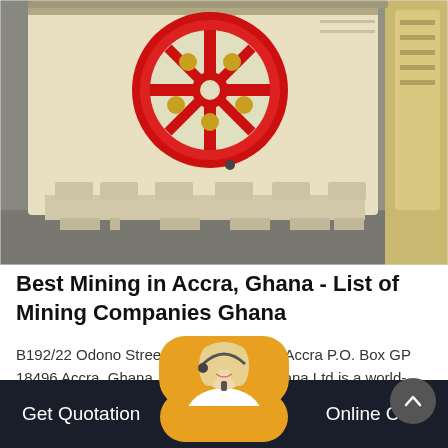[Figure (photo): Industrial mining equipment - a large jaw crusher or similar machine in cream/beige color with a prominent red circular flywheel, photographed in a factory or workshop setting]
Best Mining in Accra, Ghana - List of Mining Companies Ghana
B192/22 Odono Street, North Kaneshie, Accra P.O. Box GP 18496 Accra, Ghana, Accra. Agensix Ghana Ltd is a world-class partner in the global Oil & Gas, Energy and Mining...
[Figure (photo): Customer service agent - a blonde woman wearing a headset, shown at the bottom of the page partially visible]
Get Quotation   Online Chat